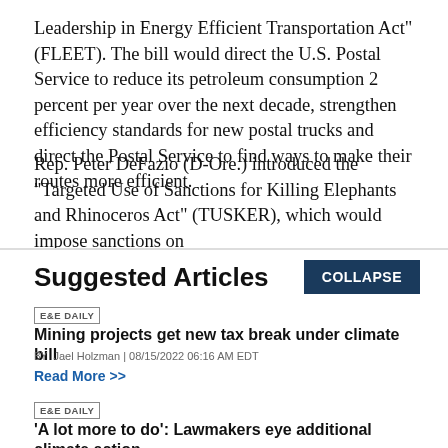Leadership in Energy Efficient Transportation Act" (FLEET). The bill would direct the U.S. Postal Service to reduce its petroleum consumption 2 percent per year over the next decade, strengthen efficiency standards for new postal trucks and direct the Postal Service to find ways to make their routes more efficient.
Rep. Peter DeFazio (D-Ore.) introduced the "Targeted Use of Sanctions for Killing Elephants and Rhinoceros Act" (TUSKER), which would impose sanctions on
Suggested Articles
E&E DAILY
Mining projects get new tax break under climate bill
BY Jael Holzman | 08/15/2022 06:16 AM EDT
Read More >>
E&E DAILY
'A lot more to do': Lawmakers eye additional climate action